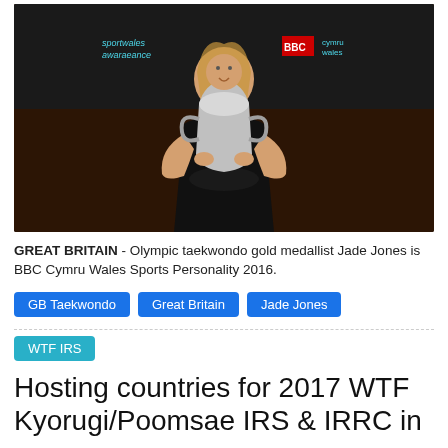[Figure (photo): Woman in black dress holding a large silver trophy at a Sports Wales / BBC Cymru Wales awards ceremony]
GREAT BRITAIN - Olympic taekwondo gold medallist Jade Jones is BBC Cymru Wales Sports Personality 2016.
GB Taekwondo
Great Britain
Jade Jones
WTF IRS
Hosting countries for 2017 WTF Kyorugi/Poomsae IRS & IRRC in